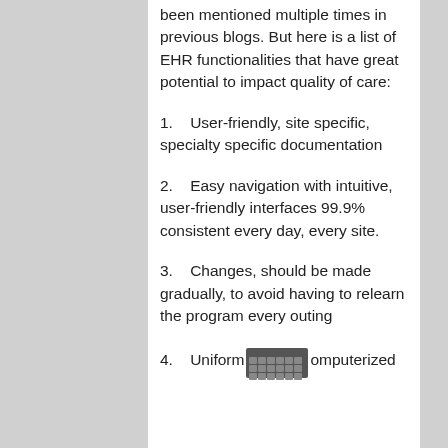been mentioned multiple times in previous blogs. But here is a list of EHR functionalities that have great potential to impact quality of care:
1.    User-friendly, site specific, specialty specific documentation
2.    Easy navigation with intuitive, user-friendly interfaces 99.9% consistent every day, every site.
3.    Changes, should be made gradually, to avoid having to relearn the program every outing
4.    Uniform [image] omputerized